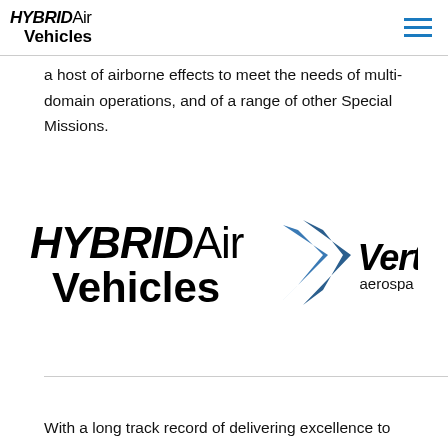HYBRID Air Vehicles [logo] [hamburger menu]
a host of airborne effects to meet the needs of multi-domain operations, and of a range of other Special Missions.
[Figure (logo): Hybrid Air Vehicles logo (large) and Vertex Aerospace logo side by side]
With a long track record of delivering excellence to defense